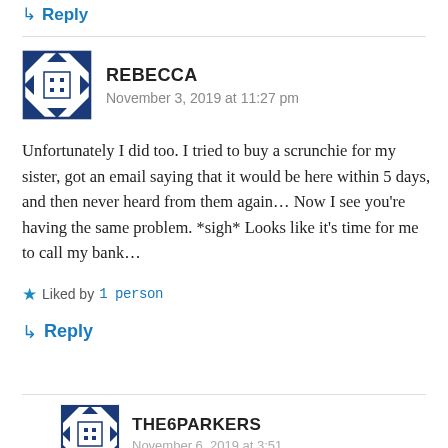↳ Reply
REBECCA
November 3, 2019 at 11:27 pm
Unfortunately I did too. I tried to buy a scrunchie for my sister, got an email saying that it would be here within 5 days, and then never heard from them again… Now I see you're having the same problem. *sigh* Looks like it's time for me to call my bank…
★ Liked by 1 person
↳ Reply
THE6PARKERS
November 6, 2019 at 3:51